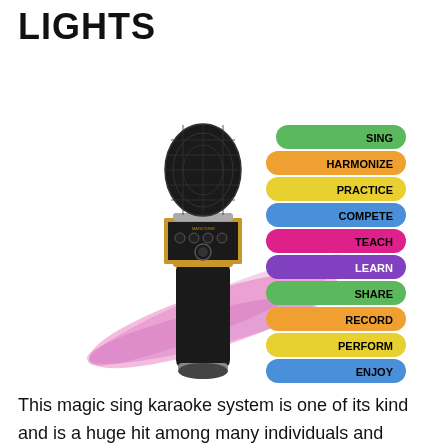LIGHTS
[Figure (illustration): A black and gold MagicSing karaoke microphone with colorful light beams (pink/purple) emanating from it, next to a stack of colored tabs listing: SING (green), HARMONIZE (orange), PRACTICE (yellow), COMPETE (blue), TEACH (pink/magenta), LEARN (purple), SHARE (green), RECORD (orange), PERFORM (yellow), ENJOY (blue)]
This magic sing karaoke system is one of its kind and is a huge hit among many individuals and